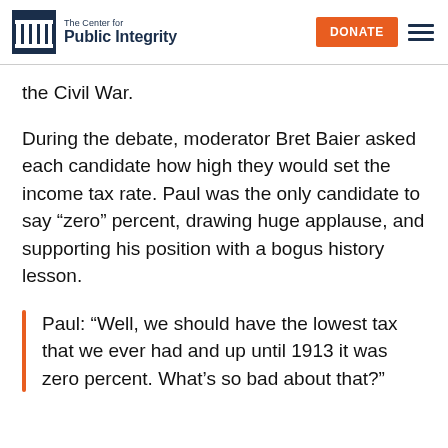The Center for Public Integrity | DONATE
the Civil War.
During the debate, moderator Bret Baier asked each candidate how high they would set the income tax rate. Paul was the only candidate to say “zero” percent, drawing huge applause, and supporting his position with a bogus history lesson.
Paul: “Well, we should have the lowest tax that we ever had and up until 1913 it was zero percent. What’s so bad about that?”